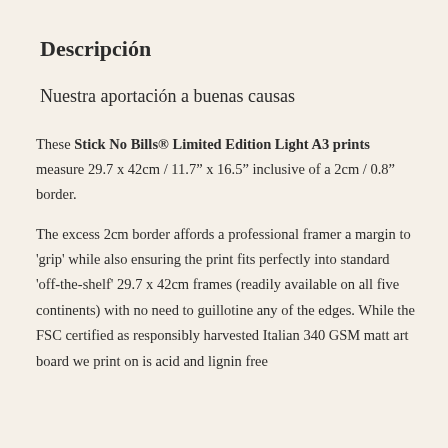Descripción
Nuestra aportación a buenas causas
These Stick No Bills® Limited Edition Light A3 prints measure 29.7 x 42cm / 11.7" x 16.5" inclusive of a 2cm / 0.8" border.
The excess 2cm border affords a professional framer a margin to 'grip' while also ensuring the print fits perfectly into standard 'off-the-shelf' 29.7 x 42cm frames (readily available on all five continents) with no need to guillotine any of the edges. While the FSC certified as responsibly harvested Italian 340 GSM matt art board we print on is acid and lignin free